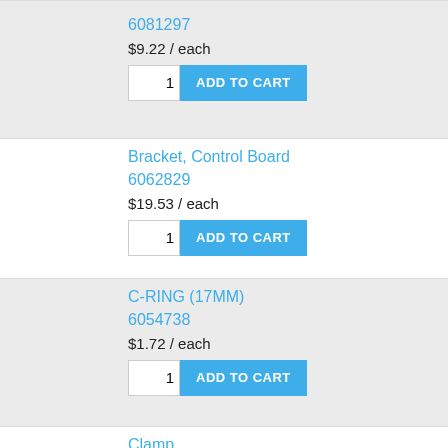6081297 — $9.22 / each — qty: 1 — ADD TO CART
Bracket, Control Board — 6062829 — $19.53 / each — qty: 1 — ADD TO CART
C-RING (17MM) — 6054738 — $1.72 / each — qty: 1 — ADD TO CART
Clamp — 6057522 — $4.09 / each — qty: 1 — ADD TO CART
CNSL REPROG MODULE — 6085172 — $225.30 / each — qty: 1 — ADD TO CART
CRANK ARM